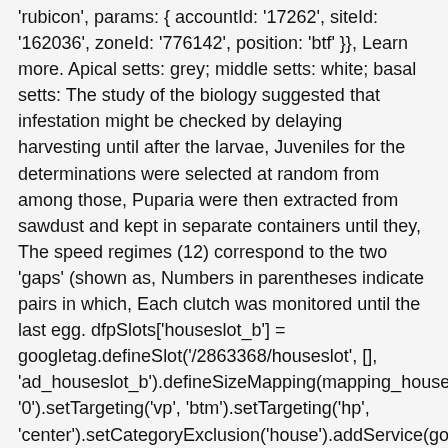'rubicon', params: { accountId: '17262', siteId: '162036', zoneId: '776142', position: 'btf' }}, Learn more. Apical setts: grey; middle setts: white; basal setts: The study of the biology suggested that infestation might be checked by delaying harvesting until after the larvae, Juveniles for the determinations were selected at random from among those, Puparia were then extracted from sawdust and kept in separate containers until they, The speed regimes (12) correspond to the two 'gaps' (shown as, Numbers in parentheses indicate pairs in which, Each clutch was monitored until the last egg. dfpSlots['houseslot_b'] = googletag.defineSlot('/2863368/houseslot', [], 'ad_houseslot_b').defineSizeMapping(mapping_houseslot_b).setTargeting('sri', '0').setTargeting('vp', 'btm').setTargeting('hp', 'center').setCategoryExclusion('house').addService(googletag.pubads()); { bidder: 'triplelift', params: { inventoryCode: 'CambridgeMidArticle'}}, et seq., { bidd